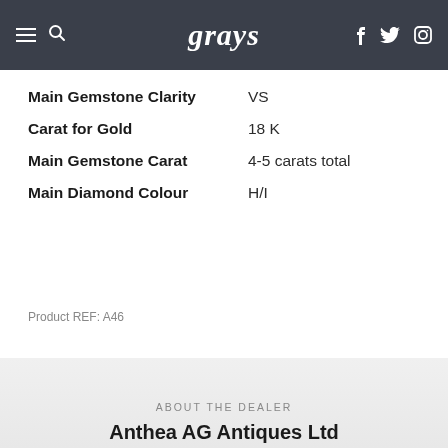grays
| Property | Value |
| --- | --- |
| Main Gemstone Clarity | VS |
| Carat for Gold | 18 K |
| Main Gemstone Carat | 4-5 carats total |
| Main Diamond Colour | H/I |
Product REF: A46
ABOUT THE DEALER
Anthea AG Antiques Ltd